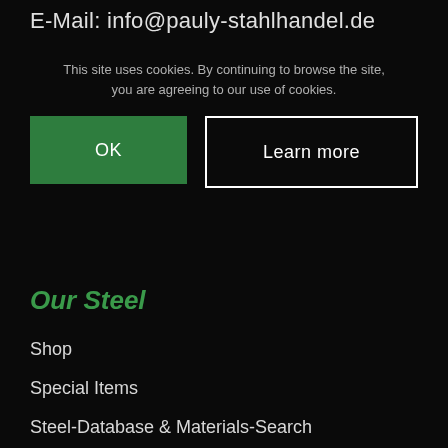E-Mail: info@pauly-stahlhandel.de
This site uses cookies. By continuing to browse the site, you are agreeing to our use of cookies.
OK
Learn more
Our Steel
Shop
Special Items
Steel-Database & Materials-Search
Weight Calculator
Delivery and Payment Policies